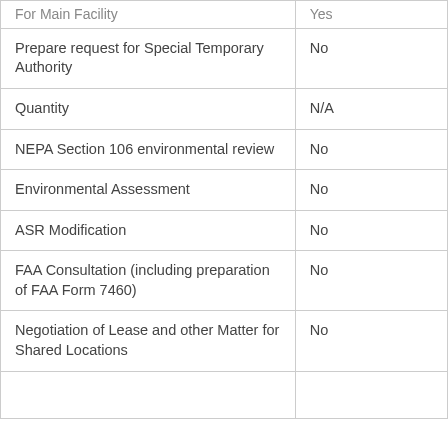|  |  |
| --- | --- |
| For Main Facility | Yes |
| Prepare request for Special Temporary Authority | No |
| Quantity | N/A |
| NEPA Section 106 environmental review | No |
| Environmental Assessment | No |
| ASR Modification | No |
| FAA Consultation (including preparation of FAA Form 7460) | No |
| Negotiation of Lease and other Matter for Shared Locations | No |